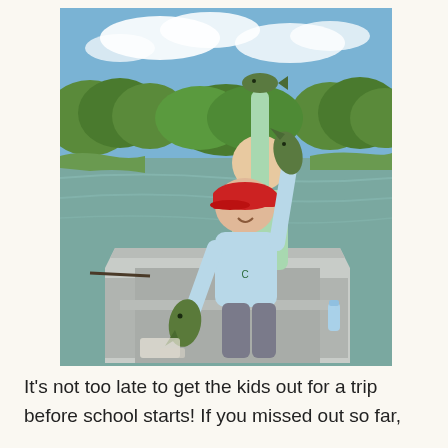[Figure (photo): A smiling young boy wearing a red baseball cap and light blue long-sleeve shirt sits in an aluminum fishing boat on a river, holding up two smallmouth bass fish — one in each hand. Behind him stands an adult in a mint green long-sleeve shirt also holding up a fish. The river and green tree-lined banks are visible in the background under a blue sky with clouds.]
It's not too late to get the kids out for a trip before school starts! If you missed out so far,